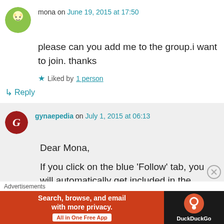mona on June 19, 2015 at 17:50
please can you add me to the group.i want to join. thanks
★ Liked by 1 person
↳ Reply
gynaepedia on July 1, 2015 at 06:13
Dear Mona,
If you click on the blue 'Follow' tab, you will automatically get included in the mailing
Advertisements
Search, browse, and email with more privacy. All in One Free App